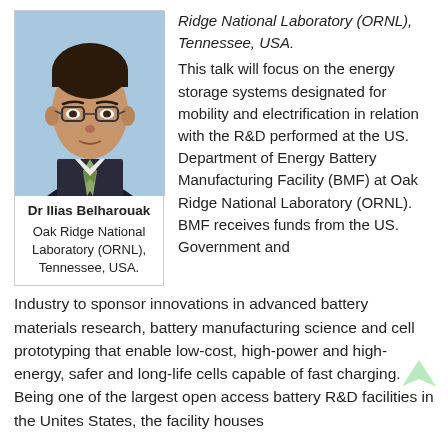[Figure (photo): Headshot photo of Dr Ilias Belharouak, a man wearing glasses and a suit with a tie, against a light blue background.]
Dr Ilias Belharouak
Oak Ridge National Laboratory (ORNL), Tennessee, USA.
Ridge National Laboratory (ORNL), Tennessee, USA. This talk will focus on the energy storage systems designated for mobility and electrification in relation with the R&D performed at the US. Department of Energy Battery Manufacturing Facility (BMF) at Oak Ridge National Laboratory (ORNL). BMF receives funds from the US. Government and Industry to sponsor innovations in advanced battery materials research, battery manufacturing science and cell prototyping that enable low-cost, high-power and high-energy, safer and long-life cells capable of fast charging. Being one of the largest open access battery R&D facilities in the Unites States, the facility houses